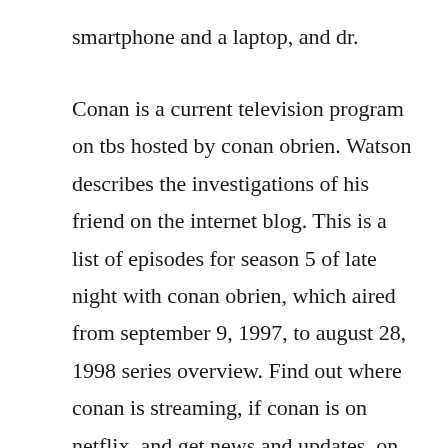smartphone and a laptop, and dr.
Conan is a current television program on tbs hosted by conan obrien. Watson describes the investigations of his friend on the internet blog. This is a list of episodes for season 5 of late night with conan obrien, which aired from september 9, 1997, to august 28, 1998 series overview. Find out where conan is streaming, if conan is on netflix, and get news and updates, on decider. All episodes of merlin season 5 complete episodes download avaliable. Download full episodes popular